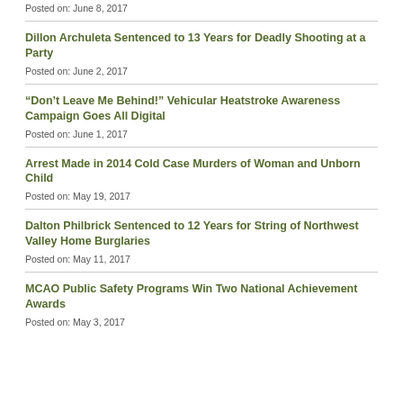Posted on: June 8, 2017
Dillon Archuleta Sentenced to 13 Years for Deadly Shooting at a Party
Posted on: June 2, 2017
“Don’t Leave Me Behind!” Vehicular Heatstroke Awareness Campaign Goes All Digital
Posted on: June 1, 2017
Arrest Made in 2014 Cold Case Murders of Woman and Unborn Child
Posted on: May 19, 2017
Dalton Philbrick Sentenced to 12 Years for String of Northwest Valley Home Burglaries
Posted on: May 11, 2017
MCAO Public Safety Programs Win Two National Achievement Awards
Posted on: May 3, 2017